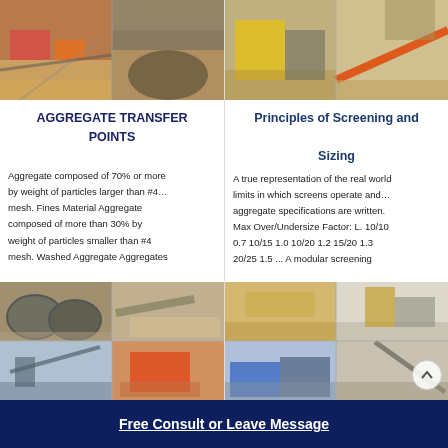[Figure (photo): Two photos of aggregate transfer point equipment, conveyor belts and stone piles]
[Figure (photo): Two photos of screening and sizing equipment at mining site]
AGGREGATE TRANSFER POINTS
Principles of Screening and Sizing
Aggregate composed of 70% or more by weight of particles larger than #4… mesh. Fines Material Aggregate composed of more than 30% by weight of particles smaller than #4 mesh. Washed Aggregate Aggregates
A true representation of the real world limits in which screens operate and… aggregate specifications are written. Max Over/Undersize Factor: L. 10/10 0.7 10/15 1.0 10/20 1.2 15/20 1.3 20/25 1.5 ... A modular screening
[Figure (photo): Four photos of aggregate processing equipment including ball mills, conveyors, and crushers]
[Figure (photo): Four photos of mining and screening operations in quarry settings]
Free Consult  or  Leave Message